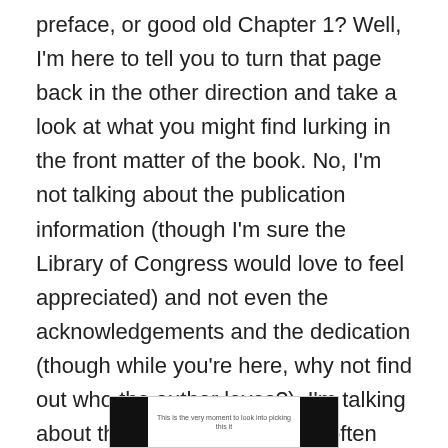preface, or good old Chapter 1? Well, I'm here to tell you to turn that page back in the other direction and take a look at what you might find lurking in the front matter of the book. No, I'm not talking about the publication information (though I'm sure the Library of Congress would love to feel appreciated) and not even the acknowledgements and the dedication (though while you're here, why not find out who the author loves?). I'm talking about the epigraph. The little (often italicized) sayings or quotations nestled in the very beginning, right before the action starts: right ahead of that opening paragraph on page 1 you were about to read.
[Figure (screenshot): A small thumbnail image with black panels on left and right sides and small text in the center]